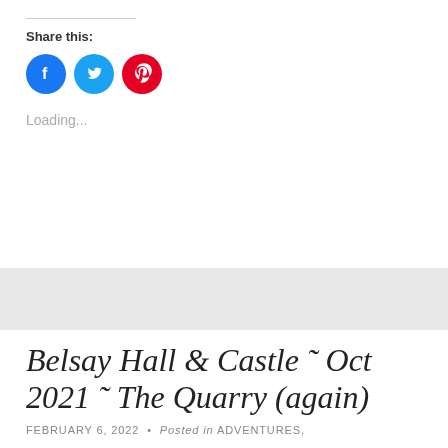Share this:
[Figure (illustration): Three social media share buttons: Facebook (blue circle with f icon), Twitter (light blue circle with bird icon), Pinterest (red circle with P icon)]
Loading...
Belsay Hall & Castle ~ Oct 2021 ~ The Quarry (again)
FEBRUARY 6, 2022 • Posted in ADVENTURES,